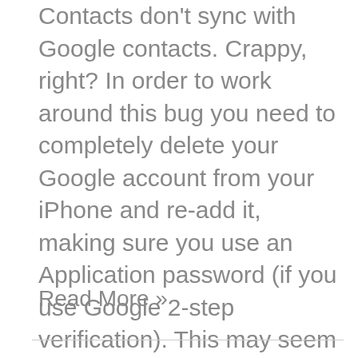Contacts don't sync with Google contacts. Crappy, right? In order to work around this bug you need to completely delete your Google account from your iPhone and re-add it, making sure you use an Application password (if you use Google 2-step verification). This may seem scary at first, but you won't lose anything. It will all get re-synced once you add the account again. Here are the steps: I. Deleting Your Account 1. First, go into Settings ...
Read More »